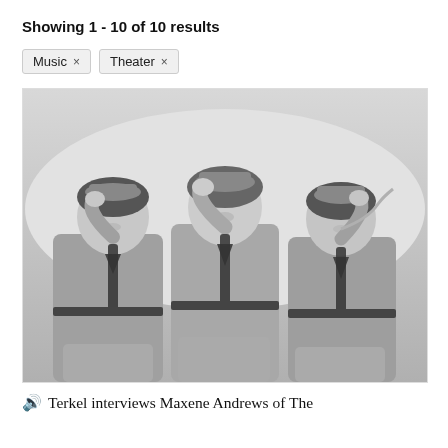Showing 1 - 10 of 10 results
Music ×
Theater ×
[Figure (photo): Black and white photo of three women in military-style uniforms with garrison caps, each saluting with one hand, sitting together and smiling.]
Terkel interviews Maxene Andrews of The